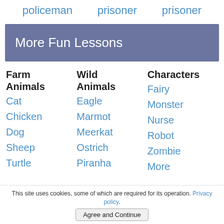policeman   prisoner   prisoner
More Fun Lessons
Farm Animals
Cat
Chicken
Dog
Sheep
Turtle
Wild Animals
Eagle
Marmot
Meerkat
Ostrich
Piranha
Characters
Fairy
Monster
Nurse
Robot
Zombie
More
This site uses cookies, some of which are required for its operation. Privacy policy.